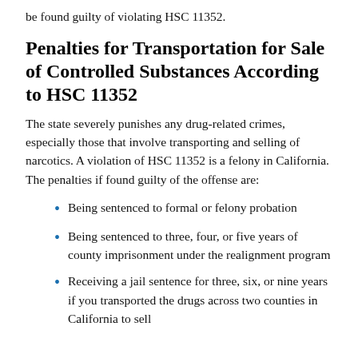be found guilty of violating HSC 11352.
Penalties for Transportation for Sale of Controlled Substances According to HSC 11352
The state severely punishes any drug-related crimes, especially those that involve transporting and selling of narcotics. A violation of HSC 11352 is a felony in California. The penalties if found guilty of the offense are:
Being sentenced to formal or felony probation
Being sentenced to three, four, or five years of county imprisonment under the realignment program
Receiving a jail sentence for three, six, or nine years if you transported the drugs across two counties in California to sell